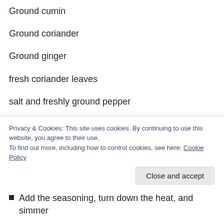Ground cumin
Ground coriander
Ground ginger
fresh coriander leaves
salt and freshly ground pepper
1 50gr sachet tomato paste (or a couple of spoonsful, if you buy jars or tins)
Fry the onion until softened, add the mince and brown
Add the seasoning, turn down the heat, and simmer
Privacy & Cookies: This site uses cookies. By continuing to use this website, you agree to their use.
To find out more, including how to control cookies, see here: Cookie Policy